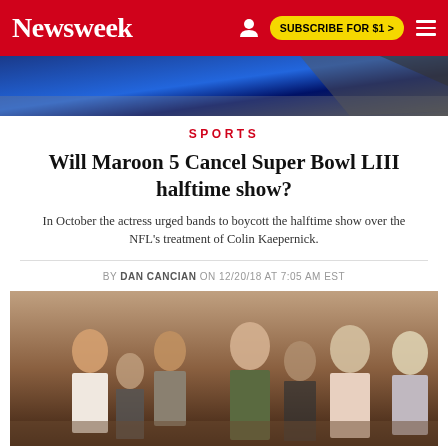Newsweek | SUBSCRIBE FOR $1 >
[Figure (photo): Blue-tinted hero background image, partial view]
SPORTS
Will Maroon 5 Cancel Super Bowl LIII halftime show?
In October the actress urged bands to boycott the halftime show over the NFL's treatment of Colin Kaepernick.
BY DAN CANCIAN ON 12/20/18 AT 7:05 AM EST
[Figure (photo): Crowd of people in a hallway or event space, woman in green outfit in center foreground]